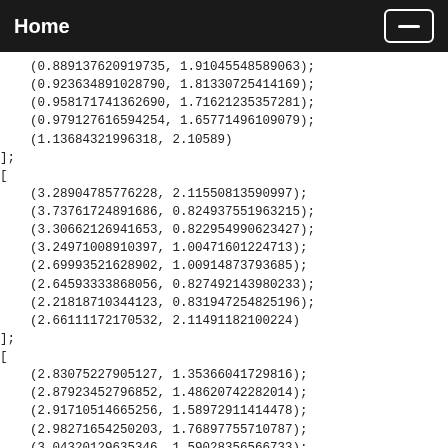Home
(0.889137620919735, 1.91045548589063);
    (0.923634891028790, 1.81330725414169);
    (0.958171741362690, 1.71621235357281);
    (0.979127616594254, 1.65771496109079);
    (1.13684321996318, 2.10589)
];
[
    (3.28904785776228, 2.11550813590997);
    (3.73761724891686, 0.824937551963215);
    (3.30662126941653, 0.822954990623427);
    (3.24971008910397, 1.00471601224713);
    (2.69993521628902, 1.00914873793685);
    (2.64593333868056, 0.827492143980233);
    (2.21818710344123, 0.831947254825196);
    (2.66111172170532, 2.11491182100224)
];
[
    (2.83075227905127, 1.35366041729816);
    (2.87923452796852, 1.48620742282014);
    (2.91710514665256, 1.58972911414478);
    (2.98271654250203, 1.76897755710787);
    (3.04320129635346, 1.59028356566733);
    (3.05209063261682, 1.56402552642664);
    (3.06700400017455, 1.52004510187737);
    (3.08543419236540, 1.46582399091646);
    (3.12362427253239, 1.35375);
    (2.96565, 1.35375)